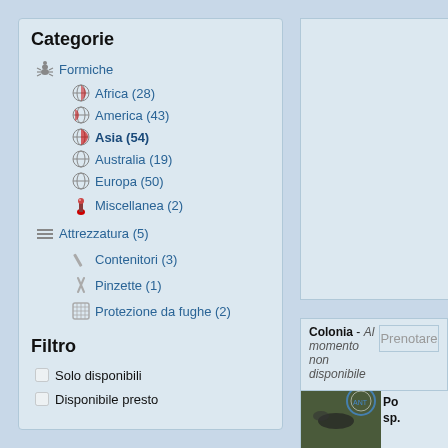Categorie
Formiche
Africa (28)
America (43)
Asia (54)
Australia (19)
Europa (50)
Miscellanea (2)
Attrezzatura (5)
Contenitori (3)
Pinzette (1)
Protezione da fughe (2)
Filtro
Solo disponibili
Disponibile presto
Colonia - Al momento non disponibile
Con circa 60-70 operaie
Restrizioni sulla spedizione: Spedizione solo in Germania
Prenotare
Po... sp....